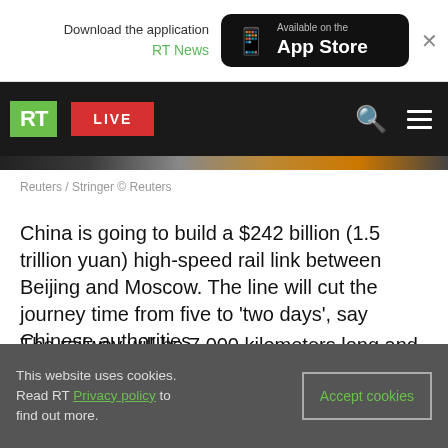Download the application RT News — Available on the App Store
[Figure (screenshot): RT News navigation bar with green RT logo, red LIVE button, search and menu icons on dark background]
Reuters / Stringer © Reuters
China is going to build a $242 billion (1.5 trillion yuan) high-speed rail link between Beijing and Moscow. The line will cut the journey time from five to 'two days', say Chinese authorities.
The railway will be 7,000 kilometers long and go through Kazakhstan, reports Bloomberg citing Beijing's city government on the social networking
This website uses cookies. Read RT Privacy policy to find out more. Accept cookies